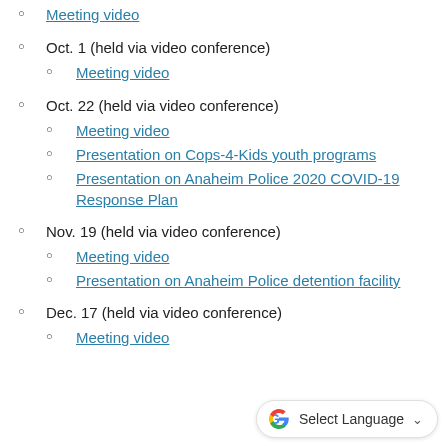Meeting video
Oct. 1 (held via video conference)
Meeting video
Oct. 22 (held via video conference)
Meeting video
Presentation on Cops-4-Kids youth programs
Presentation on Anaheim Police 2020 COVID-19 Response Plan
Nov. 19 (held via video conference)
Meeting video
Presentation on Anaheim Police detention facility
Dec. 17 (held via video conference)
Meeting video